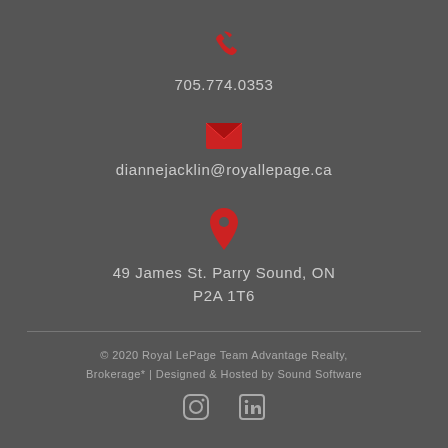[Figure (infographic): Red phone handset icon]
705.774.0353
[Figure (infographic): Red envelope/email icon]
diannejacklin@royallepage.ca
[Figure (infographic): Red map pin/location icon]
49 James St. Parry Sound, ON P2A 1T6
© 2020 Royal LePage Team Advantage Realty, Brokerage* | Designed & Hosted by Sound Software
[Figure (infographic): Instagram and LinkedIn social media icons]